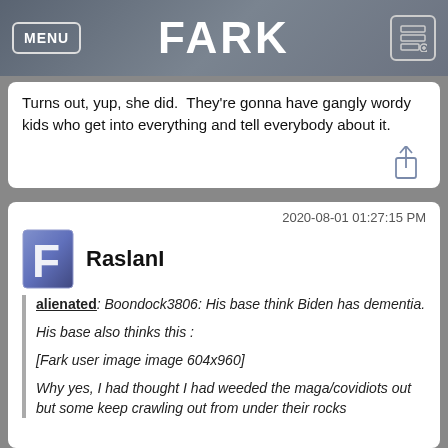MENU   FARK
Turns out, yup, she did.  They're gonna have gangly wordy kids who get into everything and tell everybody about it.
2020-08-01 01:27:15 PM
RaslanI
alienated: Boondock3806: His base think Biden has dementia.

His base also thinks this :

[Fark user image image 604x960]

Why yes, I had thought I had weeded the maga/covidiots out but some keep crawling out from under their rocks